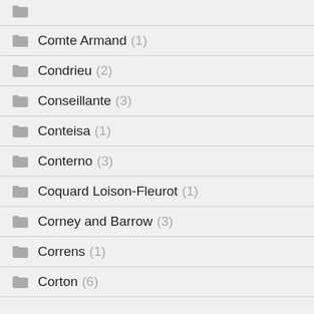Comte Armand (1)
Condrieu (2)
Conseillante (3)
Conteisa (1)
Conterno (3)
Coquard Loison-Fleurot (1)
Corney and Barrow (3)
Correns (1)
Corton (6)